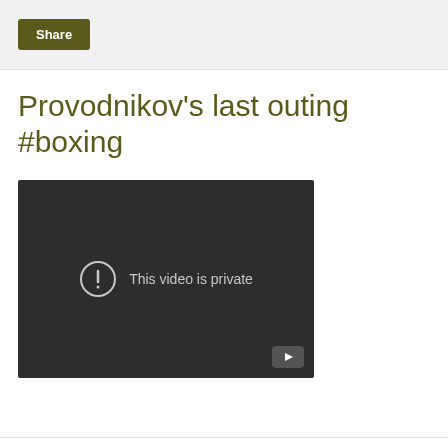Share
Provodnikov's last outing #boxing
[Figure (screenshot): Embedded video player showing 'This video is private' message with a circular exclamation icon and a YouTube play button in the bottom right corner. The video area has a dark background (#2d2d2d).]